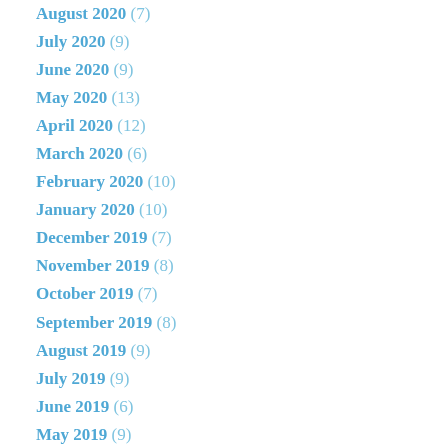August 2020 (7)
July 2020 (9)
June 2020 (9)
May 2020 (13)
April 2020 (12)
March 2020 (6)
February 2020 (10)
January 2020 (10)
December 2019 (7)
November 2019 (8)
October 2019 (7)
September 2019 (8)
August 2019 (9)
July 2019 (9)
June 2019 (6)
May 2019 (9)
April 2019 (6)
March 2019 (9)
February 2019 (5)
January 2019 (7)